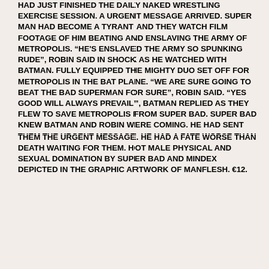HAD JUST FINISHED THE DAILY NAKED WRESTLING EXERCISE SESSION. A URGENT MESSAGE ARRIVED. SUPER MAN HAD BECOME A TYRANT AND THEY WATCH FILM FOOTAGE OF HIM BEATING AND ENSLAVING THE ARMY OF METROPOLIS. “HE'S ENSLAVED THE ARMY SO SPUNKING RUDE”, ROBIN SAID IN SHOCK AS HE WATCHED WITH BATMAN. FULLY EQUIPPED THE MIGHTY DUO SET OFF FOR METROPOLIS IN THE BAT PLANE. “WE ARE SURE GOING TO BEAT THE BAD SUPERMAN FOR SURE”, ROBIN SAID. “YES GOOD WILL ALWAYS PREVAIL”, BATMAN REPLIED AS THEY FLEW TO SAVE METROPOLIS FROM SUPER BAD. SUPER BAD KNEW BATMAN AND ROBIN WERE COMING. HE HAD SENT THEM THE URGENT MESSAGE. HE HAD A FATE WORSE THAN DEATH WAITING FOR THEM. HOT MALE PHYSICAL AND SEXUAL DOMINATION BY SUPER BAD AND MINDEX DEPICTED IN THE GRAPHIC ARTWORK OF MANFLESH. €12.